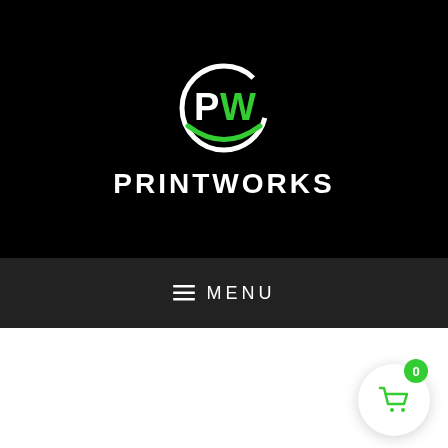[Figure (logo): Printworks logo: white circle with green PW monogram and green swoosh beneath, white text PRINTWORKS below]
≡ MENU
[Figure (other): Shopping cart icon in a white circular button with a green badge showing 0, positioned bottom-right]